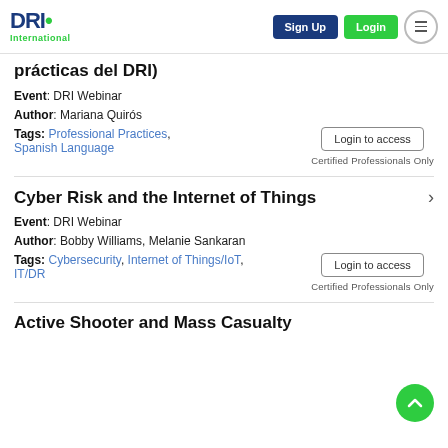DRI International — Sign Up | Login | Menu
prácticas del DRI)
Event: DRI Webinar
Author: Mariana Quirós
Tags: Professional Practices, Spanish Language
Login to access — Certified Professionals Only
Cyber Risk and the Internet of Things
Event: DRI Webinar
Author: Bobby Williams, Melanie Sankaran
Tags: Cybersecurity, Internet of Things/IoT, IT/DR
Login to access — Certified Professionals Only
Active Shooter and Mass Casualty